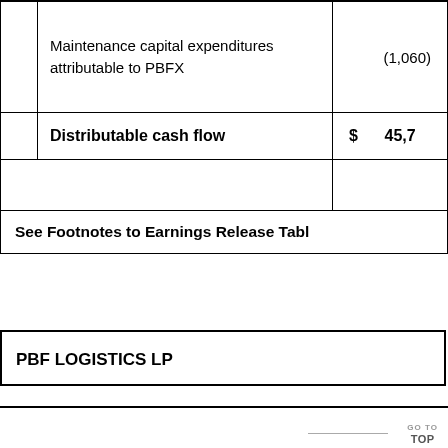|  | Description | Value |
| --- | --- | --- |
|  | Maintenance capital expenditures attributable to PBFX | (1,060) |
|  | Distributable cash flow | $ 45,7... |
|  |  |  |
|  | See Footnotes to Earnings Release Table |  |
PBF LOGISTICS LP